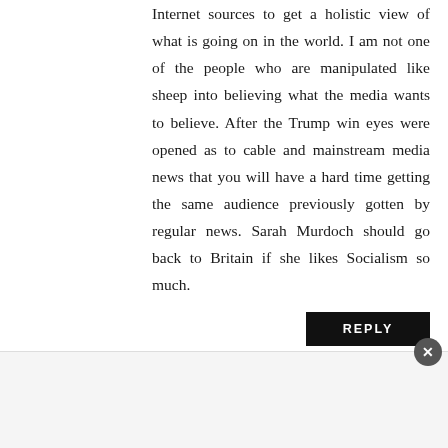Internet sources to get a holistic view of what is going on in the world. I am not one of the people who are manipulated like sheep into believing what the media wants to believe. After the Trump win eyes were opened as to cable and mainstream media news that you will have a hard time getting the same audience previously gotten by regular news. Sarah Murdoch should go back to Britain if she likes Socialism so much.
Anonymous
APRIL 20, 2017 AT 11:30 AM
I have been a devoted fan of Fox News for over